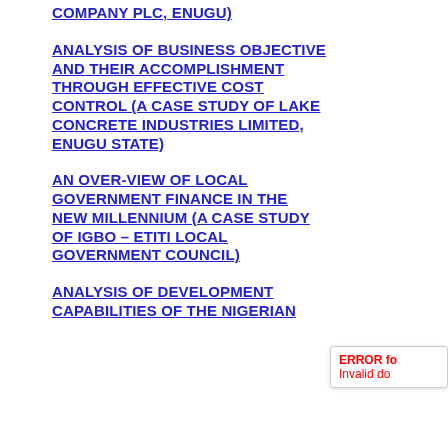COMPANY PLC, ENUGU)
ANALYSIS OF BUSINESS OBJECTIVE AND THEIR ACCOMPLISHMENT THROUGH EFFECTIVE COST CONTROL (A CASE STUDY OF LAKE CONCRETE INDUSTRIES LIMITED, ENUGU STATE)
AN OVER-VIEW OF LOCAL GOVERNMENT FINANCE IN THE NEW MILLENNIUM (A CASE STUDY OF IGBO – ETITI LOCAL GOVERNMENT COUNCIL)
ANALYSIS OF DEVELOPMENT CAPABILITIES OF THE NIGERIAN